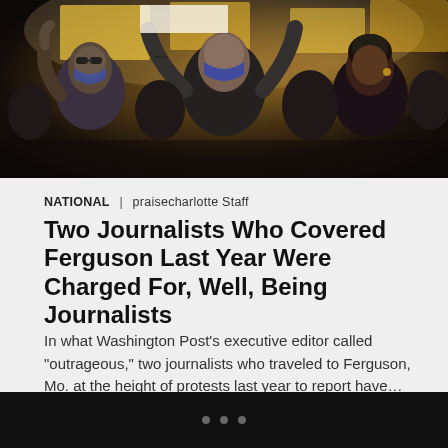[Figure (photo): Protest photo showing masked demonstrators holding up signs at night, taken at Ferguson protests]
NATIONAL | praisecharlotte Staff
Two Journalists Who Covered Ferguson Last Year Were Charged For, Well, Being Journalists
In what Washington Post’s executive editor called “outrageous,” two journalists who traveled to Ferguson, Mo. at the height of protests last year to report have…